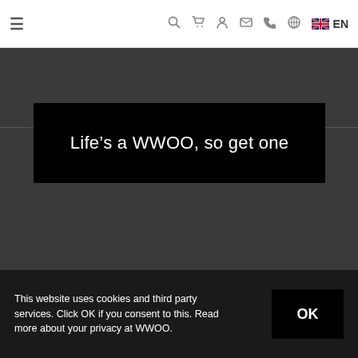≡  🔍  🛒  👤  ✉  📞  🌐  🇬🇧 EN
[Figure (screenshot): Dark textured background area with noise/grain pattern, split by a thin horizontal line]
Life's a WWOO, so get one
This website uses cookies and third party services. Click OK if you consent to this. Read more about your privacy at WWOO.
OK